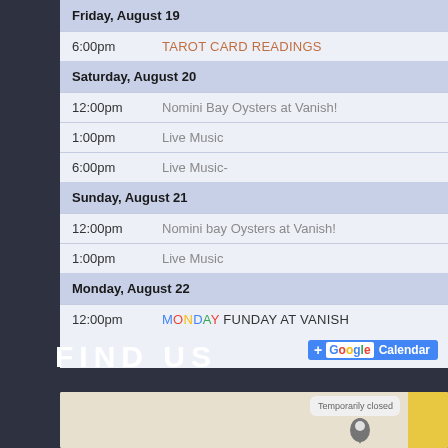| Time | Event |
| --- | --- |
| Friday, August 19 |  |
| 6:00pm | TAROT CARD READINGS |
| Saturday, August 20 |  |
| 12:00pm | Nomini Bay Oysters at Vanish! |
| 1:00pm | Live Music |
| 6:00pm | Live Music- |
| Sunday, August 21 |  |
| 12:00pm | Nomini bay Oysters at Vanish! |
| 1:00pm | Live Music |
| Monday, August 22 |  |
| 12:00pm | MONDAY FUNDAY AT VANISH |
[Figure (screenshot): Google Calendar button]
FIND US
[Figure (map): Google map showing location with a pin marker and a road, with 'Temporarily closed' label]